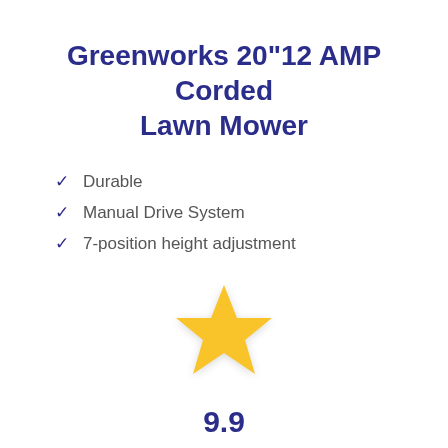Greenworks 20"12 AMP Corded Lawn Mower
Durable
Manual Drive System
7-position height adjustment
[Figure (illustration): A single gold/yellow star icon centered on the page]
9.9